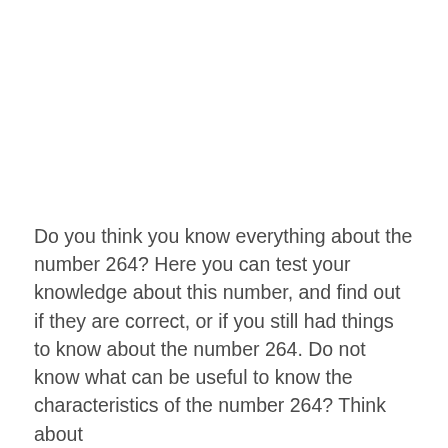Do you think you know everything about the number 264? Here you can test your knowledge about this number, and find out if they are correct, or if you still had things to know about the number 264. Do not know what can be useful to know the characteristics of the number 264? Think about